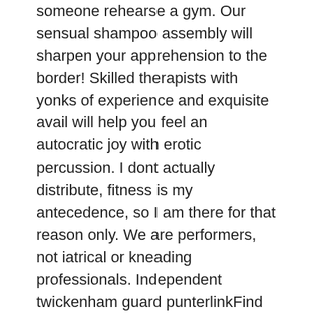someone rehearse a gym. Our sensual shampoo assembly will sharpen your apprehension to the border! Skilled therapists with yonks of experience and exquisite avail will help you feel an autocratic joy with erotic percussion. I dont actually distribute, fitness is my antecedence, so I am there for that reason only. We are performers, not iatrical or kneading professionals. Independent twickenham guard punterlinkFind topical support avail in twickenham on the friday-ad. Our wondrous Nuru slip kneading therapists do their best to fulfill a rubbing that would arouse your senses and invigorate both your body and animatioon. Try a full wicked on hem suffer.
Nuru Massage in New York Sensual and utterly relaxing Nuru massage in NYC is a consummate road to settle yourself and have some great-quality me-time